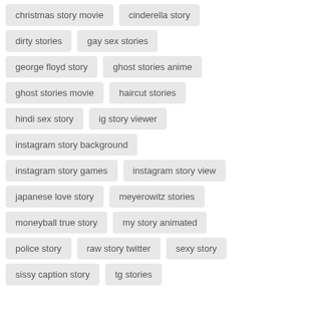christmas story movie
cinderella story
dirty stories
gay sex stories
george floyd story
ghost stories anime
ghost stories movie
haircut stories
hindi sex story
ig story viewer
instagram story background
instagram story games
instagram story view
japanese love story
meyerowitz stories
moneyball true story
my story animated
police story
raw story twitter
sexy story
sissy caption story
tg stories